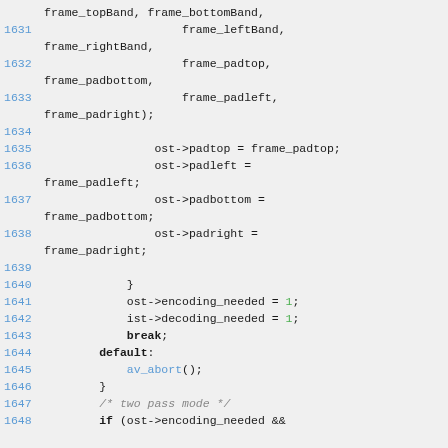Code listing lines 1631-1648 showing C source code with frame padding and encoding variables
1631    frame_leftBand,
frame_rightBand,
1632    frame_padtop,
frame_padbottom,
1633    frame_padleft,
frame_padright);
1634
1635    ost->padtop = frame_padtop;
1636    ost->padleft =
frame_padleft;
1637    ost->padbottom =
frame_padbottom;
1638    ost->padright =
frame_padright;
1639
1640    }
1641    ost->encoding_needed = 1;
1642    ist->decoding_needed = 1;
1643    break;
1644    default:
1645    av_abort();
1646    }
1647    /* two pass mode */
1648    if (ost->encoding_needed &&